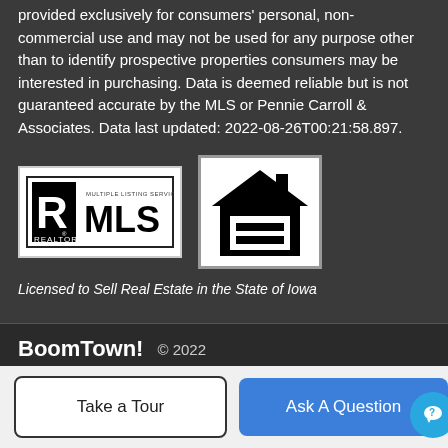provided exclusively for consumers' personal, non-commercial use and may not be used for any purpose other than to identify prospective properties consumers may be interested in purchasing. Data is deemed reliable but is not guaranteed accurate by the MLS or Pennie Carroll & Associates. Data last updated: 2022-08-26T00:21:58.897.
[Figure (logo): REALTOR MLS Multiple Listing Service logo]
[Figure (logo): Equal Housing Opportunity logo — house with equals sign]
Licensed to Sell Real Estate in the State of Iowa
BoomTown! © 2022 Terms of Use | Privacy Policy | Accessibility | DMCA | Listings Sitemap